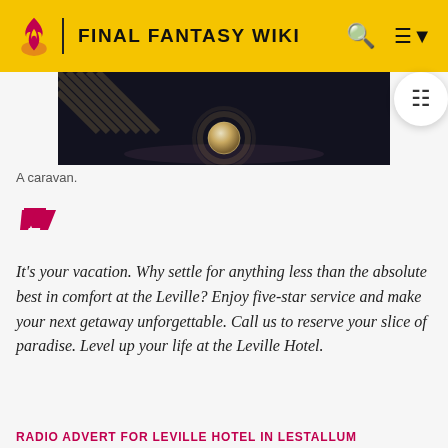FINAL FANTASY WIKI
[Figure (photo): A dark scene showing a caravan interior with a glowing orb/sphere on a wooden surface, diagonal striped patterns visible in the upper left.]
A caravan.
It's your vacation. Why settle for anything less than the absolute best in comfort at the Leville? Enjoy five-star service and make your next getaway unforgettable. Call us to reserve your slice of paradise. Level up your life at the Leville Hotel.
RADIO ADVERT FOR LEVILLE HOTEL IN LESTALLUM
Lodgings (宿泊, Shukuhaku?) are inns in Final Fantasy